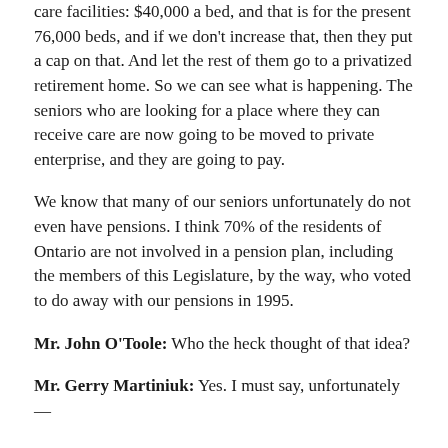care facilities: $40,000 a bed, and that is for the present 76,000 beds, and if we don't increase that, then they put a cap on that. And let the rest of them go to a privatized retirement home. So we can see what is happening. The seniors who are looking for a place where they can receive care are now going to be moved to private enterprise, and they are going to pay.
We know that many of our seniors unfortunately do not even have pensions. I think 70% of the residents of Ontario are not involved in a pension plan, including the members of this Legislature, by the way, who voted to do away with our pensions in 1995.
Mr. John O'Toole: Who the heck thought of that idea?
Mr. Gerry Martiniuk: Yes. I must say, unfortunately—
Interjections.
Hon. James J. Bradley: Don't you have a pension?